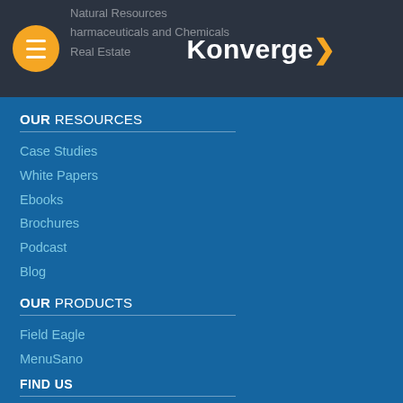Konverge (navigation header with hamburger menu, logo, and partially visible menu items: Natural Resources, Pharmaceuticals and Chemicals, Real Estate)
OUR RESOURCES
Case Studies
White Papers
Ebooks
Brochures
Podcast
Blog
OUR PRODUCTS
Field Eagle
MenuSano
FIND US
[Figure (infographic): Social media icons row: LinkedIn, Facebook, Instagram, YouTube, Twitter]
Toll Free: 1 866 640 2345
info@konverge.com